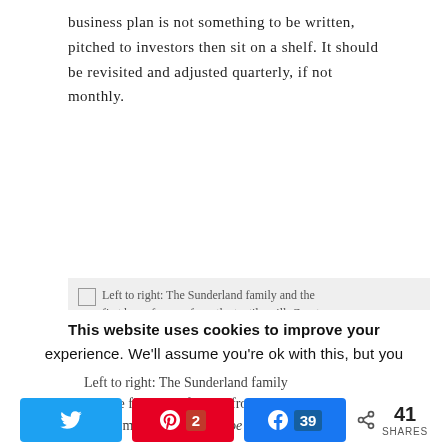business plan is not something to be written, pitched to investors then sit on a shelf. It should be revisited and adjusted quarterly, if not monthly.
[Figure (photo): Broken image placeholder with alt text: Left to right: The Sunderland family and the first box of wraps from the textile mill. Courtesy of Poe Wovens]
Left to right: The Sunderland family and the first box of wraps from the textile mill. Courtesy of Poe Wovens
Make family time sacred. Work will
This website uses cookies to improve your experience. We'll assume you're ok with this, but you